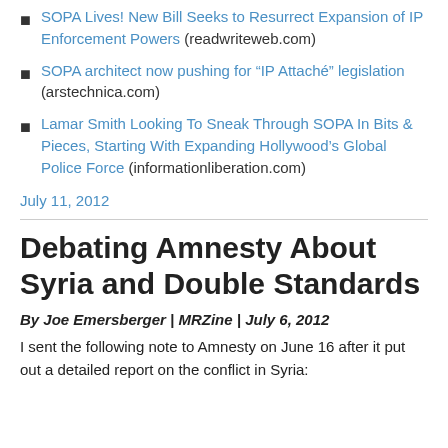SOPA Lives! New Bill Seeks to Resurrect Expansion of IP Enforcement Powers (readwriteweb.com)
SOPA architect now pushing for “IP Attaché” legislation (arstechnica.com)
Lamar Smith Looking To Sneak Through SOPA In Bits & Pieces, Starting With Expanding Hollywood’s Global Police Force (informationliberation.com)
July 11, 2012
Debating Amnesty About Syria and Double Standards
By Joe Emersberger | MRZine | July 6, 2012
I sent the following note to Amnesty on June 16 after it put out a detailed report on the conflict in Syria: